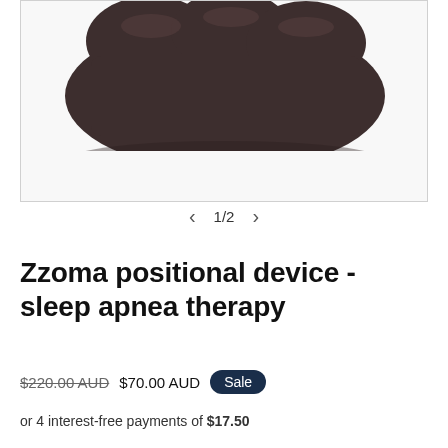[Figure (photo): Product photo of Zzoma positional device for sleep apnea therapy — dark brownish-grey pillow/device shown from above on white background]
1/2
Zzoma positional device - sleep apnea therapy
$220.00 AUD  $70.00 AUD  Sale
or 4 interest-free payments of $17.50